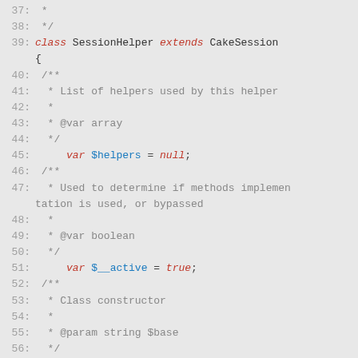Code listing lines 37-61: PHP class SessionHelper extending CakeSession with properties $helpers and $__active, and constructor method __construct.